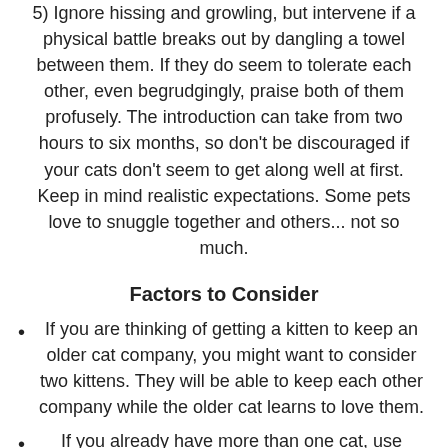5) Ignore hissing and growling, but intervene if a physical battle breaks out by dangling a towel between them. If they do seem to tolerate each other, even begrudgingly, praise both of them profusely. The introduction can take from two hours to six months, so don't be discouraged if your cats don't seem to get along well at first. Keep in mind realistic expectations. Some pets love to snuggle together and others... not so much.
Factors to Consider
If you are thinking of getting a kitten to keep an older cat company, you might want to consider two kittens. They will be able to keep each other company while the older cat learns to love them.
If you already have more than one cat, use